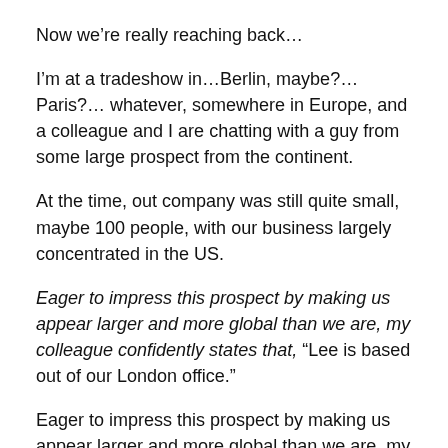Now we’re really reaching back…
I’m at a tradeshow in…Berlin, maybe?…Paris?… whatever, somewhere in Europe, and a colleague and I are chatting with a guy from some large prospect from the continent.
At the time, out company was still quite small, maybe 100 people, with our business largely concentrated in the US.
Eager to impress this prospect by making us appear larger and more global than we are, my colleague confidently states that, “Lee is based out of our London office.”
Eager to impress this prospect by making us appear larger and more global than we are, my colleague confidently states that, “Lee is based out of our London office.”